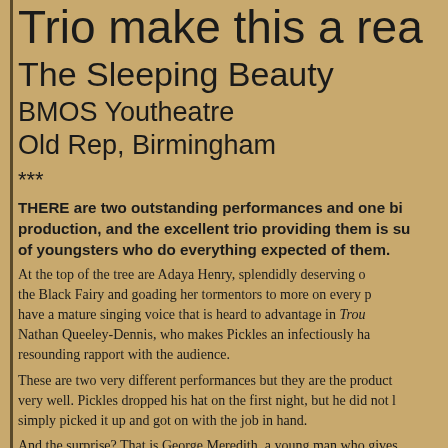Trio make this a real…
The Sleeping Beauty
BMOS Youtheatre
Old Rep, Birmingham
***
THERE are two outstanding performances and one big surprise in this production, and the excellent trio providing them is surrounded by a cast of youngsters who do everything expected of them.
At the top of the tree are Adaya Henry, splendidly deserving of her role as the Black Fairy and goading her tormentors to more on every page, and she have a mature singing voice that is heard to advantage in Trou… Nathan Queeley-Dennis, who makes Pickles an infectiously ha… resounding rapport with the audience.
These are two very different performances but they are the product… very well. Pickles dropped his hat on the first night, but he did not l… simply picked it up and got on with the job in hand.
And the surprise? That is George Meredith, a young man who gives…